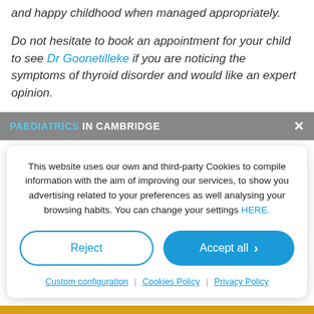and happy childhood when managed appropriately.
Do not hesitate to book an appointment for your child to see Dr Goonetilleke if you are noticing the symptoms of thyroid disorder and would like an expert opinion.
PAEDIATRICS IN CAMBRIDGE
This website uses our own and third-party Cookies to compile information with the aim of improving our services, to show you advertising related to your preferences as well analysing your browsing habits. You can change your settings HERE.
Reject
Accept all
Custom configuration | Cookies Policy | Privacy Policy